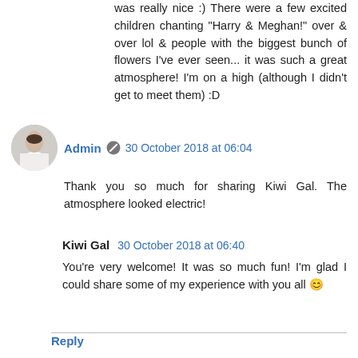was really nice :) There were a few excited children chanting “Harry & Meghan!” over & over lol & people with the biggest bunch of flowers I’ve ever seen... it was such a great atmosphere! I’m on a high (although I didn’t get to meet them) :D
Admin · 30 October 2018 at 06:04
Thank you so much for sharing Kiwi Gal. The atmosphere looked electric!
Kiwi Gal · 30 October 2018 at 06:40
You’re very welcome! It was so much fun! I’m glad I could share some of my experience with you all 😀
Reply